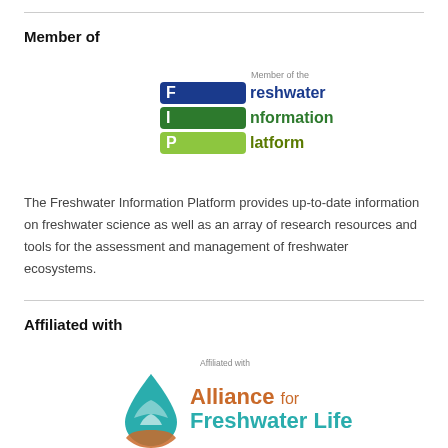Member of
[Figure (logo): Freshwater Information Platform logo with three colored horizontal bars (blue, green, lime) and text 'Member of the Freshwater Information Platform']
The Freshwater Information Platform provides up-to-date information on freshwater science as well as an array of research resources and tools for the assessment and management of freshwater ecosystems.
Affiliated with
[Figure (logo): Alliance for Freshwater Life logo with teal water droplet icon and text 'Affiliated with Alliance for Freshwater Life']